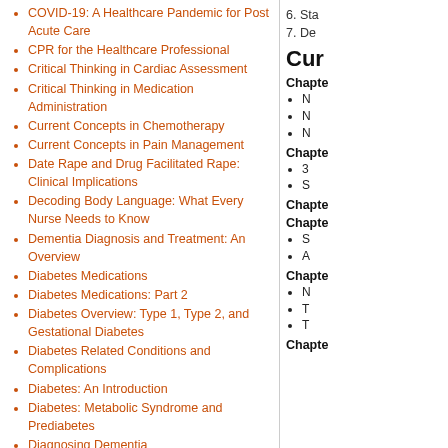COVID-19: A Healthcare Pandemic for Post Acute Care
CPR for the Healthcare Professional
Critical Thinking in Cardiac Assessment
Critical Thinking in Medication Administration
Current Concepts in Chemotherapy
Current Concepts in Pain Management
Date Rape and Drug Facilitated Rape: Clinical Implications
Decoding Body Language: What Every Nurse Needs to Know
Dementia Diagnosis and Treatment: An Overview
Diabetes Medications
Diabetes Medications: Part 2
Diabetes Overview: Type 1, Type 2, and Gestational Diabetes
Diabetes Related Conditions and Complications
Diabetes: An Introduction
Diabetes: Metabolic Syndrome and Prediabetes
Diagnosing Dementia
Domestic Violence Education for Florida Nurses
Drug Misuse, Abuse and Diversion for New Mexico Healthcare Professionals
Drug Misuse, Abuse and Diversion for West Virginia Healthcare Professionals
ECG Interpretation: Basic Rhythms
6. Sta
7. De
Cur
Chapte
N
N
N
Chapte
3
S
Chapte
Chapte
S
A
Chapte
N
T
T